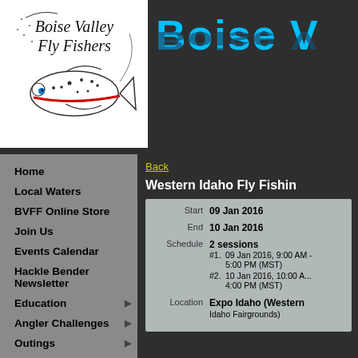[Figure (logo): Boise Valley Fly Fishers logo with a fish illustration and text]
Boise V
Home
Local Waters
BVFF Online Store
Join Us
Events Calendar
Hackle Bender Newsletter
Education
Angler Challenges
Outings
Back
Western Idaho Fly Fishin
| Field | Value |
| --- | --- |
| Start | 09 Jan 2016 |
| End | 10 Jan 2016 |
| Schedule | 2 sessions
#1. 09 Jan 2016, 9:00 AM - 5:00 PM (MST)
#2. 10 Jan 2016, 10:00 AM - 4:00 PM (MST) |
| Location | Expo Idaho (Western Idaho Fairgrounds) |